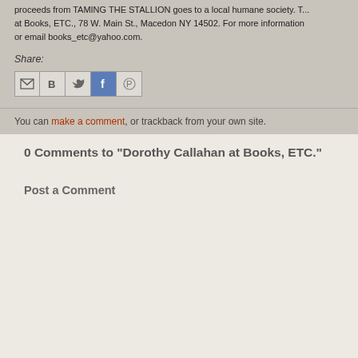proceeds from TAMING THE STALLION goes to a local humane society. T... at Books, ETC., 78 W. Main St., Macedon NY 14502. For more information or email books_etc@yahoo.com.
Share:
[Figure (other): Social sharing icons: Email (M), Blogger (B), Twitter bird, Facebook (f), Pinterest (P)]
You can make a comment, or trackback from your own site.
0 Comments to "Dorothy Callahan at Books, ETC."
Post a Comment